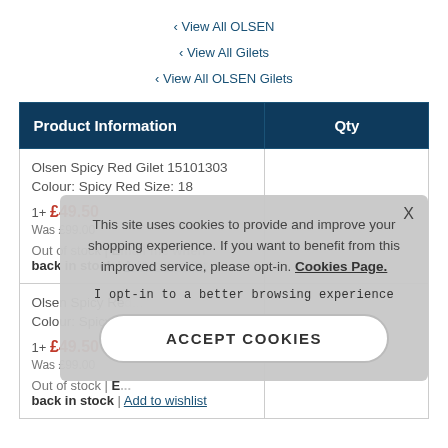‹ View All OLSEN
‹ View All Gilets
‹ View All OLSEN Gilets
| Product Information | Qty |
| --- | --- |
| Olsen Spicy Red Gilet 15101303
Colour: Spicy Red Size: 18
1+ £49.50
Was £99.00
Out of stock | Email me when back in stock | Add to wishlist |  |
| Olsen Spicy Red ...
Colour: Spicy Re...
1+ £49.50
Was £99.00
Out of stock | E...
back in stock | Add to wishlist |  |
This site uses cookies to provide and improve your shopping experience. If you want to benefit from this improved service, please opt-in. Cookies Page.
I opt-in to a better browsing experience
ACCEPT COOKIES